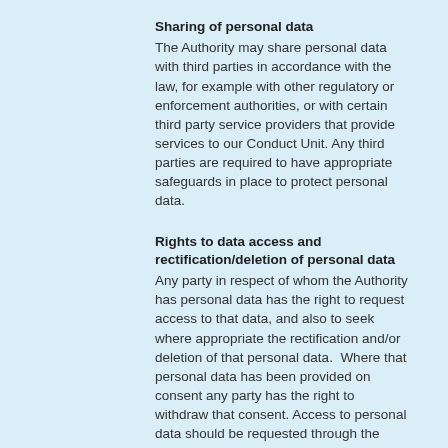Sharing of personal data
The Authority may share personal data with third parties in accordance with the law, for example with other regulatory or enforcement authorities, or with certain third party service providers that provide services to our Conduct Unit. Any third parties are required to have appropriate safeguards in place to protect personal data.
Rights to data access and rectification/deletion of personal data
Any party in respect of whom the Authority has personal data has the right to request access to that data, and also to seek where appropriate the rectification and/or deletion of that personal data.  Where that personal data has been provided on consent any party has the right to withdraw that consent. Access to personal data should be requested through the Data Protection Officer. Requests for personal data will be responded to within 30 days. IAASA may need to seek further